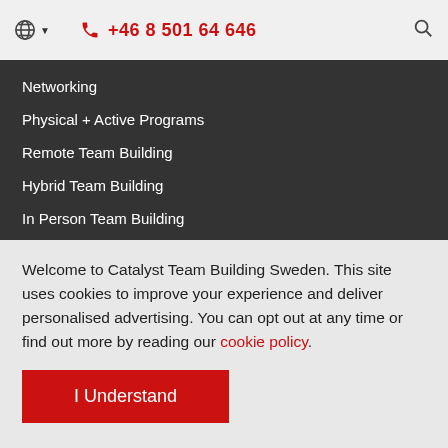+46 8 501 64 646
Networking
Physical + Active Programs
Remote Team Building
Hybrid Team Building
In Person Team Building
New Team Building Activities
Plan your Occasion
Benefits of Team Building
Welcome to Catalyst Team Building Sweden. This site uses cookies to improve your experience and deliver personalised advertising. You can opt out at any time or find out more by reading our cookie policy.
I Understand